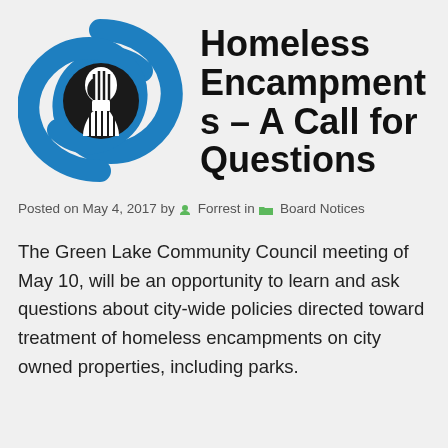[Figure (logo): Organization logo: blue S-shaped swoosh with black and white face/figure silhouette inside a circular design]
Homeless Encampments – A Call for Questions
Posted on May 4, 2017 by  Forrest in  Board Notices
The Green Lake Community Council meeting of May 10, will be an opportunity to learn and ask questions about city-wide policies directed toward treatment of homeless encampments on city owned properties, including parks.